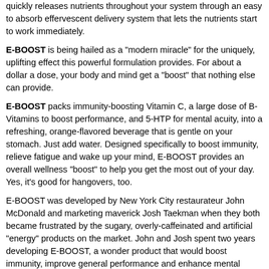quickly releases nutrients throughout your system through an easy to absorb effervescent delivery system that lets the nutrients start to work immediately.
E-BOOST is being hailed as a "modern miracle" for the uniquely, uplifting effect this powerful formulation provides. For about a dollar a dose, your body and mind get a "boost" that nothing else can provide.
E-BOOST packs immunity-boosting Vitamin C, a large dose of B-Vitamins to boost performance, and 5-HTP for mental acuity, into a refreshing, orange-flavored beverage that is gentle on your stomach. Just add water. Designed specifically to boost immunity, relieve fatigue and wake up your mind, E-BOOST provides an overall wellness "boost" to help you get the most out of your day. Yes, it's good for hangovers, too.
E-BOOST was developed by New York City restaurateur John McDonald and marketing maverick Josh Taekman when they both became frustrated by the sugary, overly-caffeinated and artificial "energy" products on the market. John and Josh spent two years developing E-BOOST, a wonder product that would boost immunity, improve general performance and enhance mental acuity.
SUPPLEMENTAL FACTS: